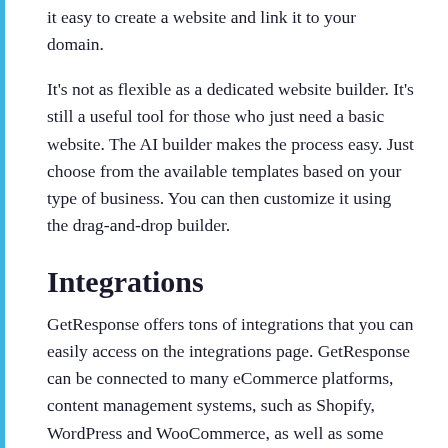it easy to create a website and link it to your domain.
It's not as flexible as a dedicated website builder. It's still a useful tool for those who just need a basic website. The AI builder makes the process easy. Just choose from the available templates based on your type of business. You can then customize it using the drag-and-drop builder.
Integrations
GetResponse offers tons of integrations that you can easily access on the integrations page. GetResponse can be connected to many eCommerce platforms, content management systems, such as Shopify, WordPress and WooCommerce, as well as some CRM systems such Highrise and Capsule.
Connect with payment gateways and social media apps to